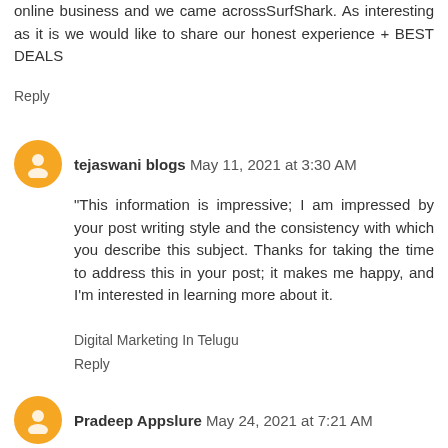online business and we came acrossSurfShark. As interesting as it is we would like to share our honest experience + BEST DEALS
Reply
tejaswani blogs May 11, 2021 at 3:30 AM
"This information is impressive; I am impressed by your post writing style and the consistency with which you describe this subject. Thanks for taking the time to address this in your post; it makes me happy, and I'm interested in learning more about it.
Digital Marketing In Telugu
Reply
Pradeep Appslure May 24, 2021 at 7:21 AM
Appslure is an award-winning mobile app development